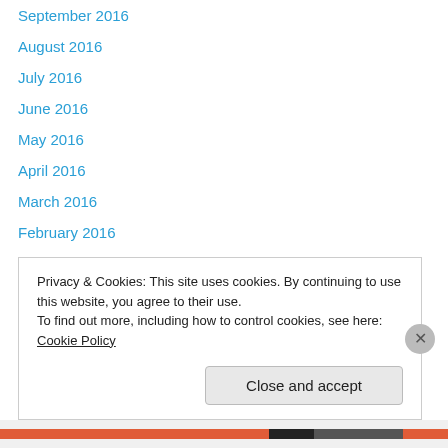September 2016
August 2016
July 2016
June 2016
May 2016
April 2016
March 2016
February 2016
January 2016
November 2015
October 2015
September 2015
July 2015
Privacy & Cookies: This site uses cookies. By continuing to use this website, you agree to their use.
To find out more, including how to control cookies, see here: Cookie Policy
Close and accept